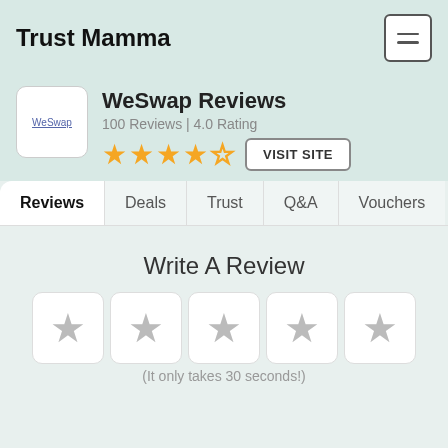Trust Mamma
WeSwap Reviews
100 Reviews | 4.0 Rating
[Figure (other): 4 filled orange stars and 1 empty star rating display, with VISIT SITE button]
Reviews | Deals | Trust | Q&A | Vouchers
Write A Review
[Figure (other): 5 empty grey star rating boxes for user input]
(It only takes 30 seconds!)